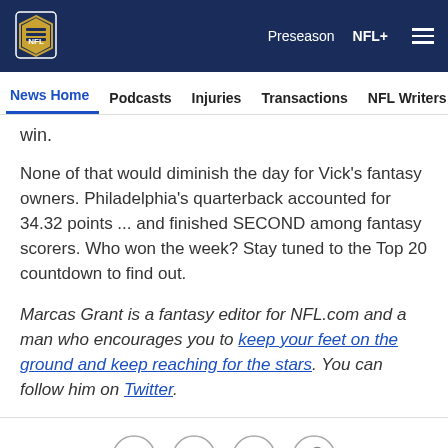NFL Navigation Bar: NFL logo, Preseason, NFL+, menu
News Home | Podcasts | Injuries | Transactions | NFL Writers | Se...
win.
None of that would diminish the day for Vick's fantasy owners. Philadelphia's quarterback accounted for 34.32 points ... and finished SECOND among fantasy scorers. Who won the week? Stay tuned to the Top 20 countdown to find out.
Marcas Grant is a fantasy editor for NFL.com and a man who encourages you to keep your feet on the ground and keep reaching for the stars. You can follow him on Twitter.
[Figure (other): Social share icons: Facebook, Twitter, Email, Link]